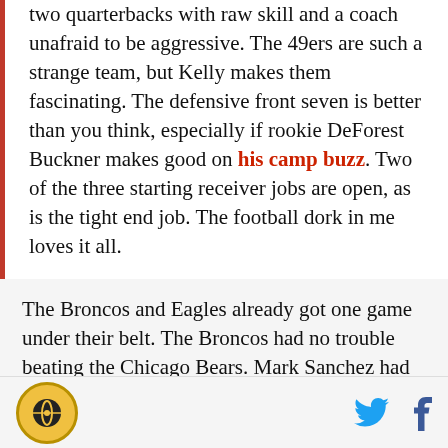two quarterbacks with raw skill and a coach unafraid to be aggressive. The 49ers are such a strange team, but Kelly makes them fascinating. The defensive front seven is better than you think, especially if rookie DeForest Buckner makes good on his camp buzz. Two of the three starting receiver jobs are open, as is the tight end job. The football dork in me loves it all.
The Broncos and Eagles already got one game under their belt. The Broncos had no trouble beating the Chicago Bears. Mark Sanchez had an interception, but otherwise was solid in his debut, completing 10 of 13 passes for 99 yards and a touchdown. The Eagles edged out the Tampa Bay Buccaneers 17-9, and we
[logo] [Twitter icon] [Facebook icon]